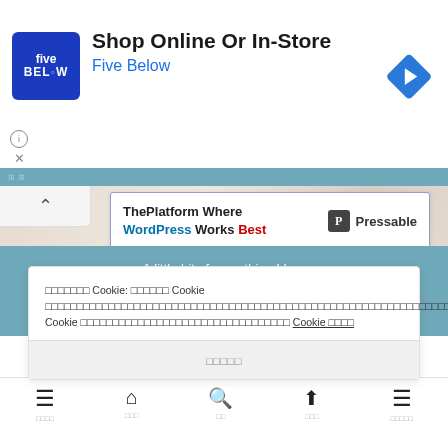[Figure (screenshot): Five Below advertisement banner with blue logo, 'Shop Online Or In-Store' headline, 'Five Below' subtitle in blue, and navigation arrow diamond icon on right. Info and X icons in bottom-left.]
[Figure (screenshot): Browser back button chevron on left, embedded Pressable/WordPress ad card reading 'ThePlatform Where WordPress Works Best' with Pressable logo on right. Background is a marble/stone texture image.]
A little bit of everything I love
HOME
□□
□□□□□
3AM
□□□□□□□□□□□□□□□□□□□□□□□□□□□□□□□□□□□□□□□□□□□□□□□□□□□□□□□□□□□□□□□□□□□□□□□□□□□□□□□□□□□□□□□□□□□□□□□□□□□□□□□□□□□□□□□□□□□□□□□□□□□□□□Cookie: □□□□□□ Cookie □□□□□□□□□□□□□□□□□□□□□□□□□□□□□□□□□□□□□□□□□□□□□□□□□□□□□□□□□□Cookie □□□□□□□□□□□□□□□□□□□□□□□□□□□□□□□□□ Cookie □□□□
□□□□□
≡  🏠  🔍  ↑  ≡  (navigation bar icons)